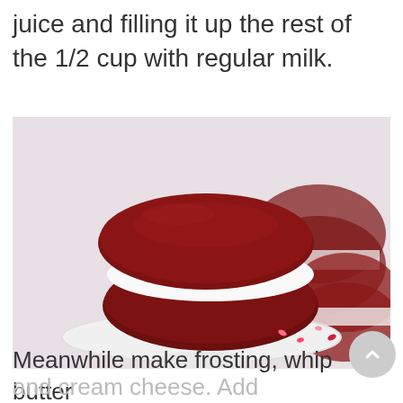juice and filling it up the rest of the 1/2 cup with regular milk.
[Figure (photo): A red velvet whoopie pie sandwich cookie filled with white cream cheese frosting and pink/red heart-shaped sprinkles, displayed on a white cake stand. Additional whoopie pies visible in the background.]
Meanwhile make frosting, whip butter and cream cheese. Add powdered sugar and milk. Add frosting to cooled